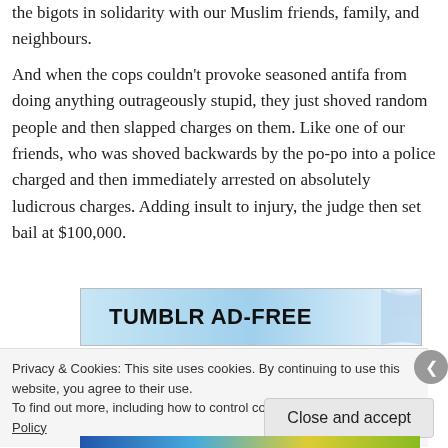the bigots in solidarity with our Muslim friends, family, and neighbours.
And when the cops couldn't provoke seasoned antifa from doing anything outrageously stupid, they just shoved random people and then slapped charges on them.  Like one of our friends, who was shoved backwards by the po-po into a police charged and then immediately arrested on absolutely ludicrous charges.  Adding insult to injury, the judge then set bail at $100,000.
[Figure (other): Tumblr Ad-Free promotional banner with blue gradient background]
Privacy & Cookies: This site uses cookies. By continuing to use this website, you agree to their use.
To find out more, including how to control cookies, see here: Cookie Policy
Close and accept